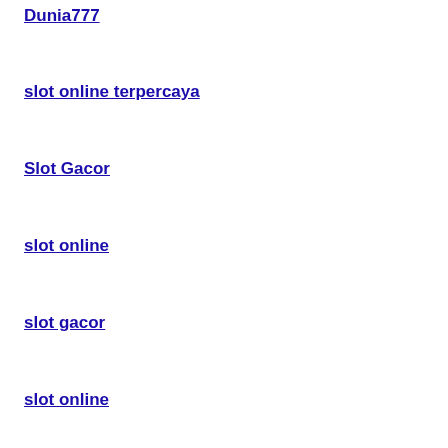Dunia777
slot online terpercaya
Slot Gacor
slot online
slot gacor
slot online